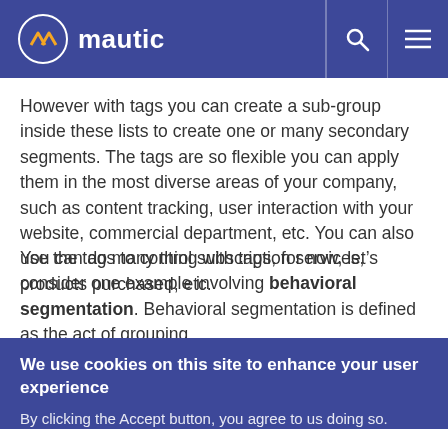mautic
However with tags you can create a sub-group inside these lists to create one or many secondary segments. The tags are so flexible you can apply them in the most diverse areas of your company, such as content tracking, user interaction with your website, commercial department, etc. You can also use the tags to control subscription services, products purchased, etc.
You can do many thing with tags, for now, let’s consider one example involving behavioral segmentation. Behavioral segmentation is defined as the act of grouping
We use cookies on this site to enhance your user experience
By clicking the Accept button, you agree to us doing so.